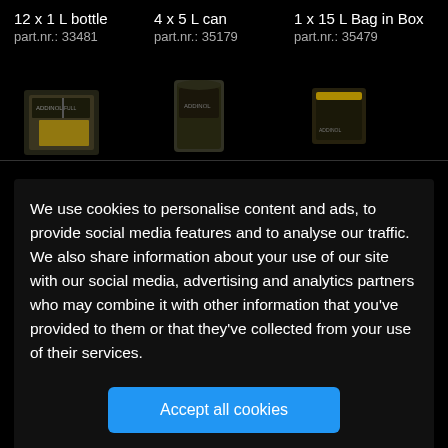12 x 1 L bottle
part.nr.: 33481
4 x 5 L can
part.nr.: 35179
1 x 15 L Bag in Box
part.nr.: 35479
[Figure (photo): Three product images: a 12x1L bottle pack, a 4x5L can, and a 1x15L Bag in Box, shown in a dark background]
We use cookies to personalise content and ads, to provide social media features and to analyse our traffic. We also share information about your use of our site with our social media, advertising and analytics partners who may combine it with other information that you've provided to them or that they've collected from your use of their services.
Accept all cookies
Settings